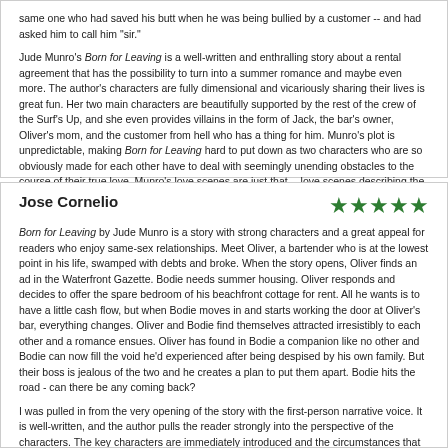same one who had saved his butt when he was being bullied by a customer -- and had asked him to call him "sir."

Jude Munro's Born for Leaving is a well-written and enthralling story about a rental agreement that has the possibility to turn into a summer romance and maybe even more. The author's characters are fully dimensional and vicariously sharing their lives is great fun. Her two main characters are beautifully supported by the rest of the crew of the Surf's Up, and she even provides villains in the form of Jack, the bar's owner, Oliver's mom, and the customer from hell who has a thing for him. Munro's plot is unpredictable, making Born for Leaving hard to put down as two characters who are so obviously made for each other have to deal with seemingly unending obstacles to the course of their true love. Munro's love scenes are just that -- love scenes describing the physical romance of two men deeply in love with each other. They are beautifully and respectfully written. Born for Leaving is most highly recommended.
Jose Cornelio
★★★★★
Born for Leaving by Jude Munro is a story with strong characters and a great appeal for readers who enjoy same-sex relationships. Meet Oliver, a bartender who is at the lowest point in his life, swamped with debts and broke. When the story opens, Oliver finds an ad in the Waterfront Gazette. Bodie needs summer housing. Oliver responds and decides to offer the spare bedroom of his beachfront cottage for rent. All he wants is to have a little cash flow, but when Bodie moves in and starts working the door at Oliver's bar, everything changes. Oliver and Bodie find themselves attracted irresistibly to each other and a romance ensues. Oliver has found in Bodie a companion like no other and Bodie can now fill the void he'd experienced after being despised by his own family. But their boss is jealous of the two and he creates a plan to put them apart. Bodie hits the road - can there be any coming back?

I was pulled in from the very opening of the story with the first-person narrative voice. It is well-written, and the author pulls the reader strongly into the perspective of the characters. The key characters are immediately introduced and the circumstances that draw Oliver and Bodie together are interesting. I loved Bodie as a character and in the way he is described, a wanderer who suddenly finds roots in the heart of a lonely man. The emotional elements of the story are well-